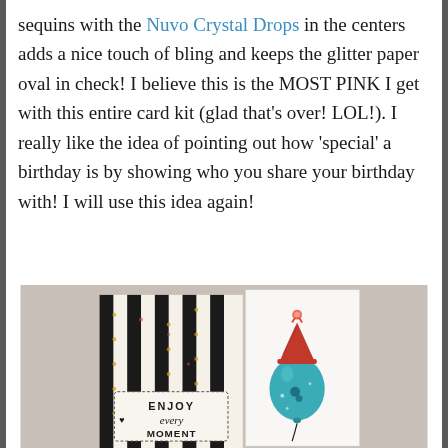sequins with the Nuvo Crystal Drops in the centers adds a nice touch of bling and keeps the glitter paper oval in check! I believe this is the MOST PINK I get with this entire card kit (glad that's over! LOL!). I really like the idea of pointing out how 'special' a birthday is by showing who you share your birthday with! I will use this idea again!
[Figure (photo): A handmade birthday card displayed upright showing black and white vertical stripes with gold accents on the left panel, and a white panel on the right featuring a teal balloon with a red party hat on top. A tag at the bottom reads 'ENJOY every MOMENT' in bold lettering with a small heart.]